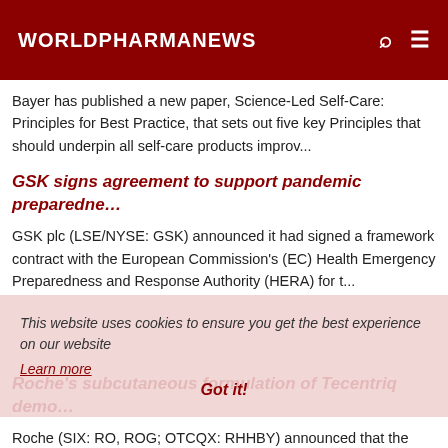WORLDPHARMANEWS
Bayer has published a new paper, Science-Led Self-Care: Principles for Best Practice, that sets out five key Principles that should underpin all self-care products improv...
GSK signs agreement to support pandemic preparedne…
GSK plc (LSE/NYSE: GSK) announced it had signed a framework contract with the European Commission's (EC) Health Emergency Preparedness and Response Authority (HERA) for t...
This website uses cookies to ensure you get the best experience on our website
Learn more
Got it!
Roche's subcutaneous formulation of Tecentriq demo…
Roche (SIX: RO, ROG; OTCQX: RHHBY) announced that the Phase III IMscin001 study